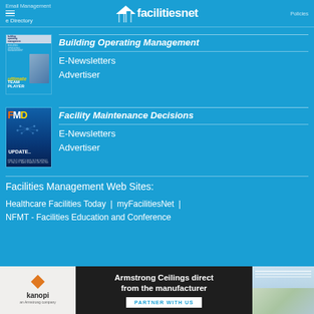Email Management | Policies | ≡ e Directory | facilitiesnet
[Figure (screenshot): Building Operating Management magazine cover with person in hard hat]
Building Operating Management
E-Newsletters
Advertiser
[Figure (screenshot): Facility Maintenance Decisions magazine cover with FMD logo and stars]
Facility Maintenance Decisions
E-Newsletters
Advertiser
Facilities Management Web Sites:
Healthcare Facilities Today | myFacilitiesNet | NFMT - Facilities Education and Conference
[Figure (screenshot): Armstrong Ceilings advertisement - direct from the manufacturer, kanopi logo, PARTNER WITH US button]